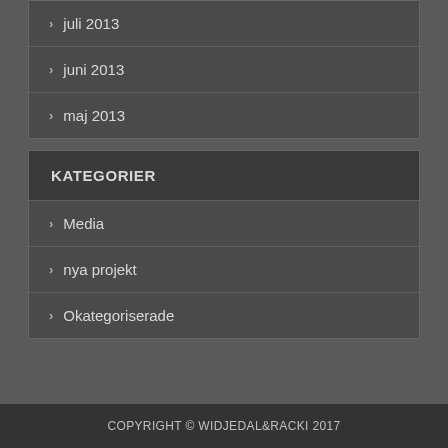juli 2013
juni 2013
maj 2013
KATEGORIER
Media
nya projekt
Okategoriserade
COPYRIGHT © WIDJEDAL&RACKI 2017